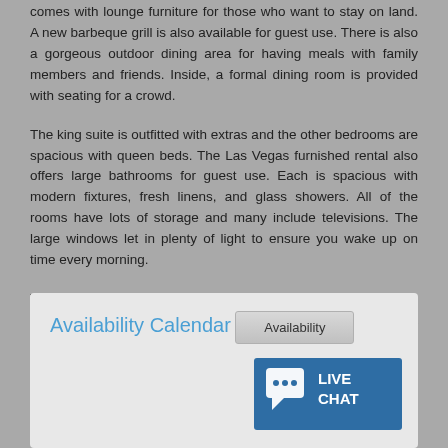comes with lounge furniture for those who want to stay on land. A new barbeque grill is also available for guest use. There is also a gorgeous outdoor dining area for having meals with family members and friends. Inside, a formal dining room is provided with seating for a crowd.
The king suite is outfitted with extras and the other bedrooms are spacious with queen beds. The Las Vegas furnished rental also offers large bathrooms for guest use. Each is spacious with modern fixtures, fresh linens, and glass showers. All of the rooms have lots of storage and many include televisions. The large windows let in plenty of light to ensure you wake up on time every morning.
This furnished house in Las Vegas is somewhere you need to see to believe. It has many perks, like a washer and dryer, a fenced yard, and parking, that make it stand out. If you're looking for the ideal space to stay while you are in Nevada, it doesn't get much better than this.
Availability Calendar
Availability